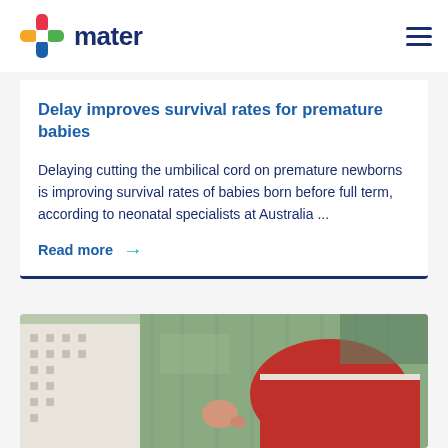mater
Delay improves survival rates for premature babies
Delaying cutting the umbilical cord on premature newborns is improving survival rates of babies born before full term, according to neonatal specialists at Australia ...
Read more →
[Figure (photo): Close-up photograph of a premature newborn baby wrapped in green and white patterned cloth with a red blanket, lying in a hospital setting]